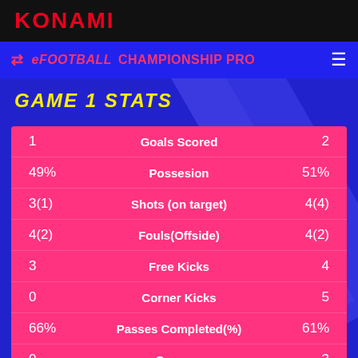KONAMI
eFootball Championship Pro
GAME 1 STATS
| Left | Stat | Right |
| --- | --- | --- |
| 1 | Goals Scored | 2 |
| 49% | Possesion | 51% |
| 3(1) | Shots (on target) | 4(4) |
| 4(2) | Fouls(Offside) | 4(2) |
| 3 | Free Kicks | 4 |
| 0 | Corner Kicks | 5 |
| 66% | Passes Completed(%) | 61% |
| 0 | Crosses | 3 |
| 21 | Interceptions | 22 |